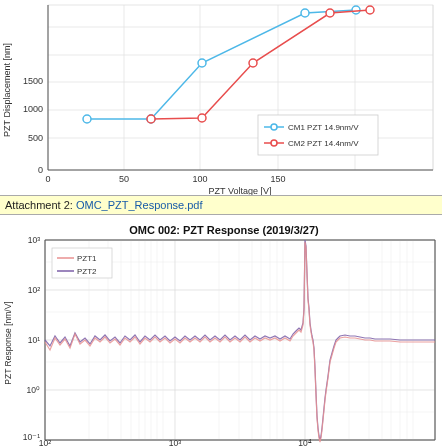[Figure (continuous-plot): PZT Displacement vs PZT Voltage scatter/line chart (top portion, cropped). Two series: CM1 PZT 14.9nm/V (blue circles) and CM2 PZT 14.4nm/V (red circles). Y-axis: PZT Displacement [nm], range ~0 to ~1600+. X-axis: PZT Voltage [V], range 0 to 150. Blue series rises from ~(15,530) through ~(40,530), ~(60,1100), ~(100,1600), ~(120,1650). Red series rises from ~(40,530), ~(60,535), ~(80,1100), ~(110,1625), ~(125,1650).]
Attachment 2: OMC_PZT_Response.pdf
[Figure (continuous-plot): Log-log plot of PZT Response [nm/V] vs frequency [Hz]. Two series: PZT1 (pink/red line) and PZT2 (blue/purple line). X-axis: 10^2 to beyond 10^4 Hz. Y-axis: 10^-1 to 10^3 nm/V. Both traces are nearly identical flat around 10-20 nm/V, with a large resonance peak near 10^4 Hz reaching ~10^3, then sharp dip and recovery. Page is cropped at the bottom.]